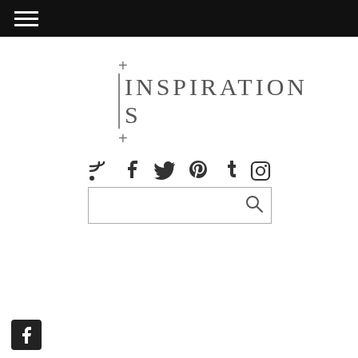Navigation/menu bar with hamburger icon
+INSPIRATIONS
[Figure (infographic): Social media icons row: RSS, Facebook, Twitter, Pinterest, Tumblr, Instagram]
[Figure (other): Search input box with magnifying glass icon]
[Figure (logo): Facebook icon button at bottom left]